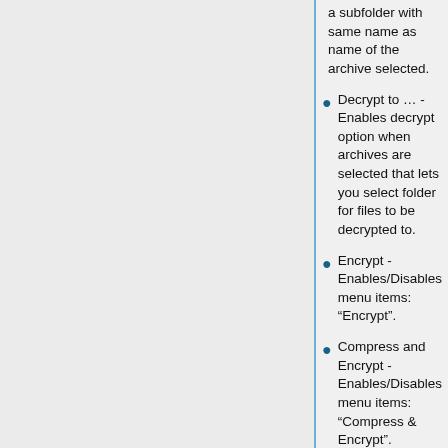a subfolder with same name as name of the archive selected.
Decrypt to … - Enables decrypt option when archives are selected that lets you select folder for files to be decrypted to.
Encrypt - Enables/Disables menu items: “Encrypt”.
Compress and Encrypt - Enables/Disables menu items: “Compress & Encrypt”.
Convert… -